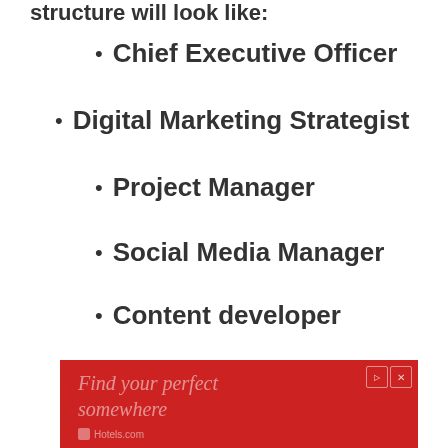structure will look like:
Chief Executive Officer
Digital Marketing Strategist
Project Manager
Social Media Manager
Content developer
Web/Blog developer
[Figure (other): Red advertisement banner with text 'Find your perfect somewhere' and Hotels.com logo with navigation controls]